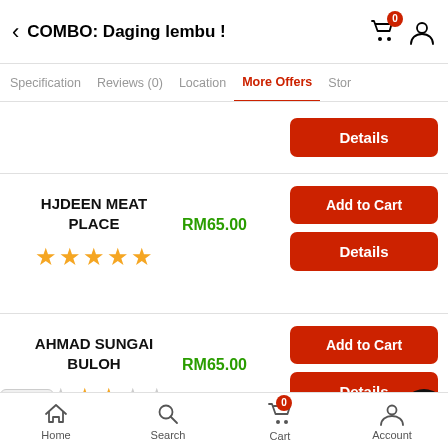COMBO: Daging lembu !
Specification | Reviews (0) | Location | More Offers | Stor
Details (button)
HJDEEN MEAT PLACE — RM65.00 — ★★★★★ — Add to Cart — Details
AHMAD SUNGAI BULOH — RM65.00 — ★★☆☆☆ — Add to Cart — Details
Home | Search | Cart (0) | Account